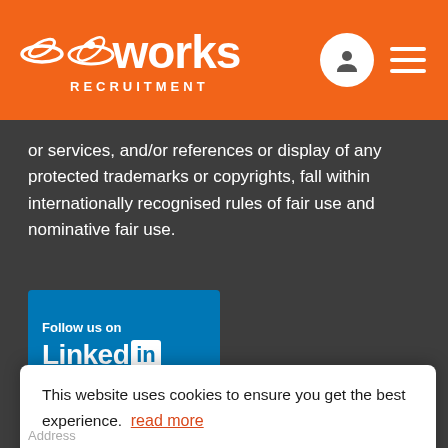[Figure (logo): IT Works Recruitment logo — orange header with white logo text and icons]
or services, and/or references or display of any protected trademarks or copyrights, fall within internationally recognised rules of fair use and nominative fair use.
[Figure (logo): Follow us on LinkedIn badge — blue rectangle with white text]
[Figure (logo): Media logos strip: The Sunday Times and other publication logos]
This website uses cookies to ensure you get the best experience.  read more
Got it!
Address